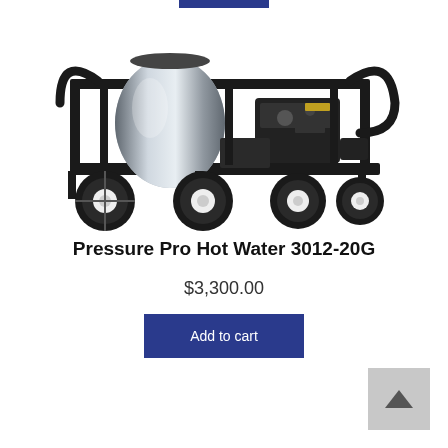[Figure (photo): Pressure Pro Hot Water 3012-20G pressure washer machine on wheels with black metal frame, engine, and stainless steel components]
Pressure Pro Hot Water 3012-20G
$3,300.00
Add to cart